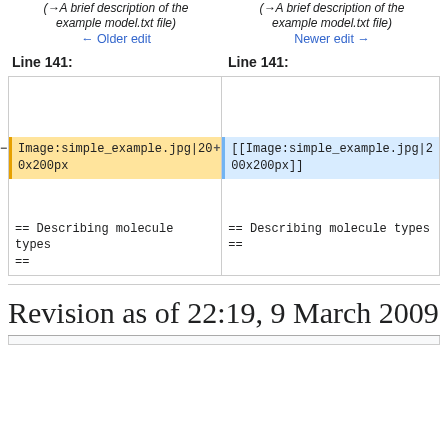(→A brief description of the example model.txt file)
(→A brief description of the example model.txt file)
← Older edit
Newer edit →
Line 141:
Line 141:
| Image:simple_example.jpg|200x200px | [[Image:simple_example.jpg|200x200px]] |
| == Describing molecule types == | == Describing molecule types == |
Revision as of 22:19, 9 March 2009